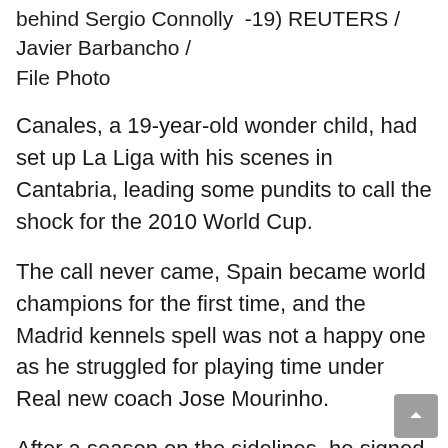behind Sergio Connolly -19) REUTERS / Javier Barbancho / File Photo
Canales, a 19-year-old wonder child, had set up La Liga with his scenes in Cantabria, leading some pundits to call the shock for the 2010 World Cup.
The call never came, Spain became world champions for the first time, and the Madrid kennels spell was not a happy one as he struggled for playing time under Real new coach Jose Mourinho.
After a season on the sidelines, he signed for Valencia in 2011 on a two-year loan deal, hoping to secure a place in Euro 2012.
It was in Mestalla, where the kennels initially thrived, but the